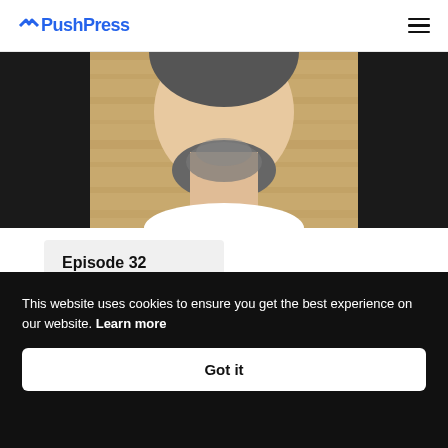PushPress
[Figure (photo): Close-up photo of a man's lower face and neck with a beard, wearing a white t-shirt, against a wooden background]
Episode 32
Sure Fire Tactics to Help You Convert, Engage
This website uses cookies to ensure you get the best experience on our website. Learn more
Got it